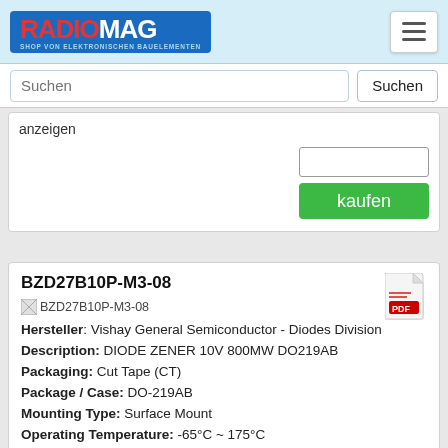RADIOMAG - SHOP VON ELEKTRONISCHEN BAUELEMENTEN
anzeigen
kaufen
BZD27B10P-M3-08
Hersteller: Vishay General Semiconductor - Diodes Division
Description: DIODE ZENER 10V 800MW DO219AB
Packaging: Cut Tape (CT)
Package / Case: DO-219AB
Mounting Type: Surface Mount
Operating Temperature: -65°C ~ 175°C
Voltage - Zener (Nom) (Vz): 10 V
Impedance (Max) (Zzt): 4 Ohms
Supplier Device Package: DO-219AB (SMF)
Part Status: Active
Power - Max: 800 mW
Voltage - Forward (Vf) (Max) @ If: 1.2 V @ 200 mA
Current - Reverse Leakage @ Vr: 7 uA @ 7.5 V